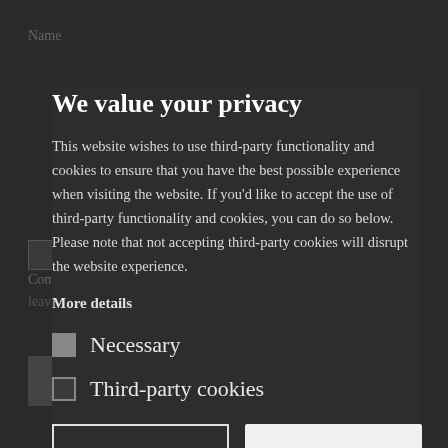Name
Comment
leave a comment
We value your privacy
This website wishes to use third-party functionality and cookies to ensure that you have the best possible experience when visiting the website. If you'd like to accept the use of third-party functionality and cookies, you can do so below. Please note that not accepting third-party cookies will disrupt the website experience.
More details
Necessary
Third-party cookies
Accept selected
Accept all
SUBMIT